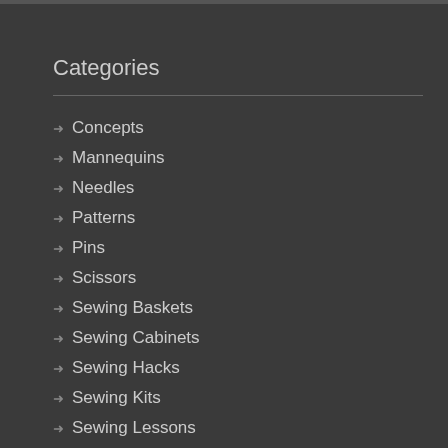Categories
Concepts
Mannequins
Needles
Patterns
Pins
Scissors
Sewing Baskets
Sewing Cabinets
Sewing Hacks
Sewing Kits
Sewing Lessons
Sewing Machines
Sewing Supplies